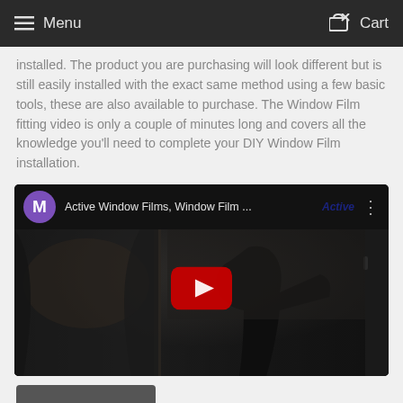Menu   Cart
installed. The product you are purchasing will look different but is still easily installed with the exact same method using a few basic tools, these are also available to purchase. The Window Film fitting video is only a couple of minutes long and covers all the knowledge you'll need to complete your DIY Window Film installation.
[Figure (screenshot): YouTube video thumbnail showing 'Active Window Films, Window Film ...' with a purple M avatar icon, Active badge, and a play button over a dark scene of a person installing window film.]